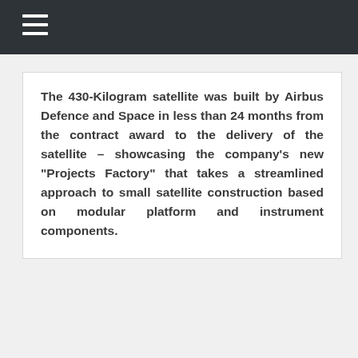The 430-Kilogram satellite was built by Airbus Defence and Space in less than 24 months from the contract award to the delivery of the satellite – showcasing the company's new "Projects Factory" that takes a streamlined approach to small satellite construction based on modular platform and instrument components.